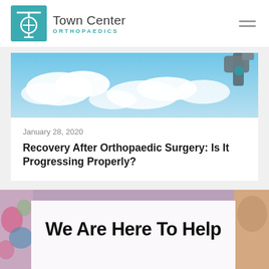[Figure (logo): Town Center Orthopaedics logo — teal square with circular T symbol, beside text 'Town Center ORTHOPAEDICS']
[Figure (photo): Outdoor sky scene with clouds and what appears to be a surgical lamp or equipment arm in upper right]
January 28, 2020
Recovery After Orthopaedic Surgery: Is It Progressing Properly?
[Figure (photo): Photo of person in colorful clothing, partially visible on left side; white overlay card in center]
We Are Here To Help